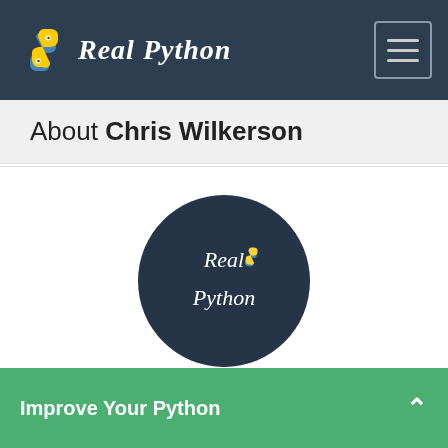Real Python
About Chris Wilkerson
[Figure (logo): Real Python circular logo on dark navy background with script text 'Real Python' and Python snake icon]
Chris is an avid Pythonista and writes for Real Python.
» More about Chris
Improve Your Python